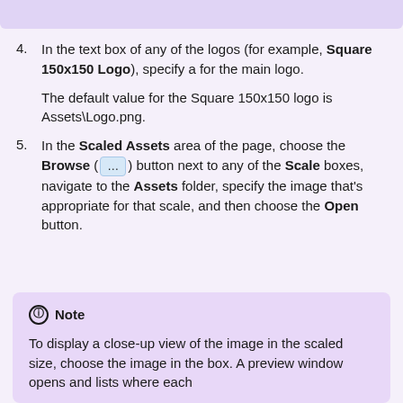4. In the text box of any of the logos (for example, Square 150x150 Logo), specify a for the main logo.

The default value for the Square 150x150 logo is Assets\Logo.png.
5. In the Scaled Assets area of the page, choose the Browse (...) button next to any of the Scale boxes, navigate to the Assets folder, specify the image that's appropriate for that scale, and then choose the Open button.
Note
To display a close-up view of the image in the scaled size, choose the image in the box. A preview window opens and lists where each